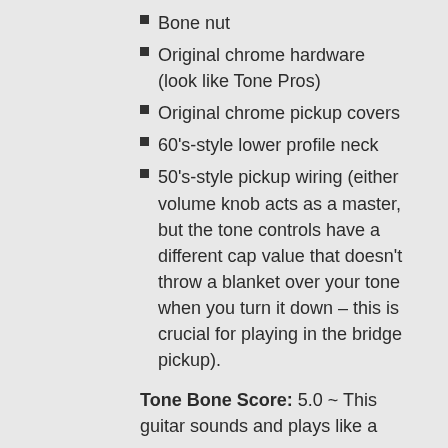Bone nut
Original chrome hardware (look like Tone Pros)
Original chrome pickup covers
60's-style lower profile neck
50's-style pickup wiring (either volume knob acts as a master, but the tone controls have a different cap value that doesn't throw a blanket over your tone when you turn it down – this is crucial for playing in the bridge pickup).
Tone Bone Score: 5.0 ~ This guitar sounds and plays like a